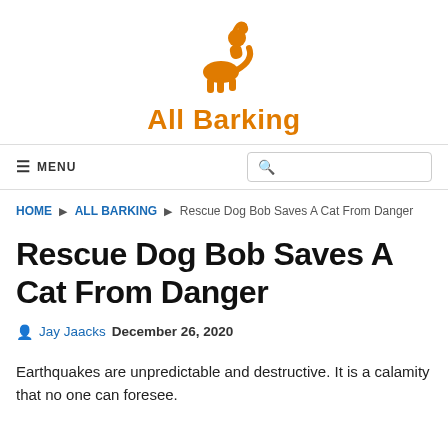[Figure (logo): Orange howling wolf/dog silhouette logo for All Barking website]
All Barking
≡ MENU  [search box]
HOME ▶ ALL BARKING ▶ Rescue Dog Bob Saves A Cat From Danger
Rescue Dog Bob Saves A Cat From Danger
Jay Jaacks   December 26, 2020
Earthquakes are unpredictable and destructive. It is a calamity that no one can foresee.